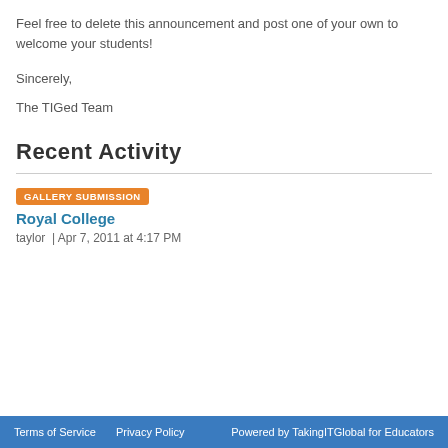Feel free to delete this announcement and post one of your own to welcome your students!
Sincerely,
The TIGed Team
Recent Activity
GALLERY SUBMISSION
Royal College
taylor  | Apr 7, 2011 at 4:17 PM
Terms of Service   Privacy Policy   Powered by TakingITGlobal for Educators